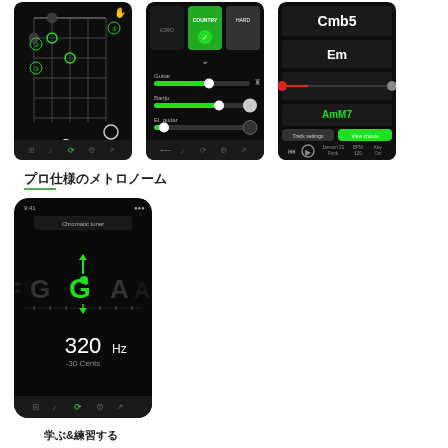[Figure (screenshot): Mobile app screenshot showing guitar chord diagram with fret positions, note G highlighted, fret number 7 shown at bottom. Dark background with green highlights.]
[Figure (screenshot): Mobile app screenshot showing music genre selection screen with COUNTRY and HARD categories, sliders for Guitar, Banjo, and other instruments controls.]
[Figure (screenshot): Mobile app screenshot showing chord detection display with Cmb5 and Em chords shown, red progress bar, and playback controls at bottom.]
プロ仕様のメトロノーム
[Figure (screenshot): Mobile app screenshot showing chromatic tuner screen with note G highlighted in green in center, surrounding notes visible (G, A), frequency display showing 320 Hz and -30 Cents, dark background.]
学ぶ&練習する